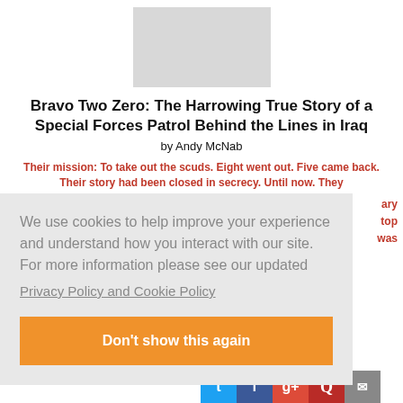[Figure (illustration): Book cover image placeholder (light gray rectangle)]
Bravo Two Zero: The Harrowing True Story of a Special Forces Patrol Behind the Lines in Iraq
by Andy McNab
Their mission: To take out the scuds. Eight went out. Five came back. Their story had been closed in secrecy. Until now. They ...ary ...top ...was
We use cookies to help improve your experience and understand how you interact with our site. For more information please see our updated
Privacy Policy and Cookie Policy
Don't show this again